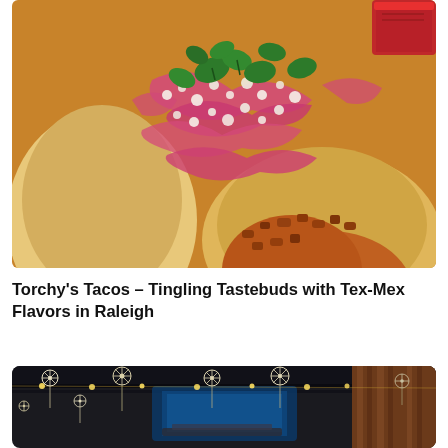[Figure (photo): Close-up photo of tacos filled with fried chicken, pickled red onions, crumbled white cheese, cilantro, in corn tortillas, with a red cup in the background]
Torchy’s Tacos – Tingling Tastebuds with Tex-Mex Flavors in Raleigh
[Figure (photo): Interior of a dark restaurant with decorative hanging snowflake/lace ornaments from the ceiling, blue-lit bar in background, wooden wall panels on the right]